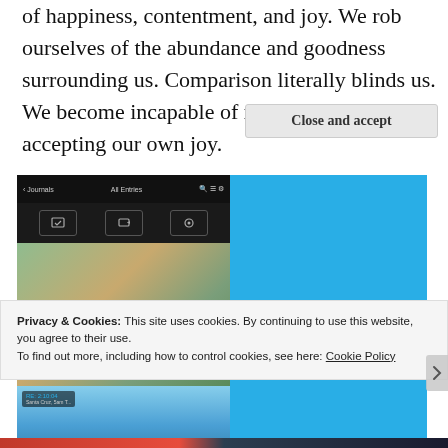of happiness, contentment, and joy. We rob ourselves of the abundance and goodness surrounding us. Comparison literally blinds us. We become incapable of realizing and accepting our own joy.
[Figure (screenshot): DayOne journaling app advertisement showing phone screenshots on the left with photo grid interface and 'Jan 2020' overlay, and blue panel on the right with 'DAY ONE' logo and 'Your Journal for life' tagline]
Privacy & Cookies: This site uses cookies. By continuing to use this website, you agree to their use.
To find out more, including how to control cookies, see here: Cookie Policy
Close and accept